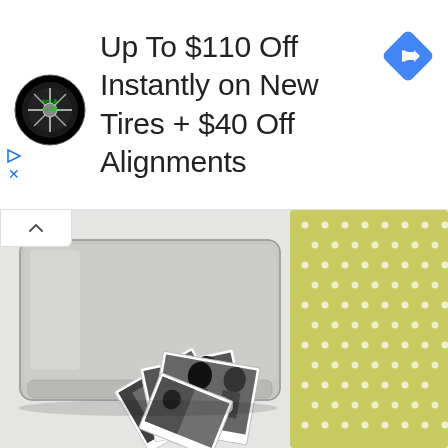[Figure (screenshot): Advertisement banner: Tire & Auto logo on left, text 'Up To $110 Off Instantly on New Tires + $40 Off Alignments', blue diamond navigation arrow on right. Small play and X icons on left edge. White background.]
Up To $110 Off Instantly on New Tires + $40 Off Alignments
[Figure (photo): Product photograph: silver/metallic rectangular tin box with lid, yellow-green polka dot patterned paper/book, and several black and white photographs spread out on a white surface.]